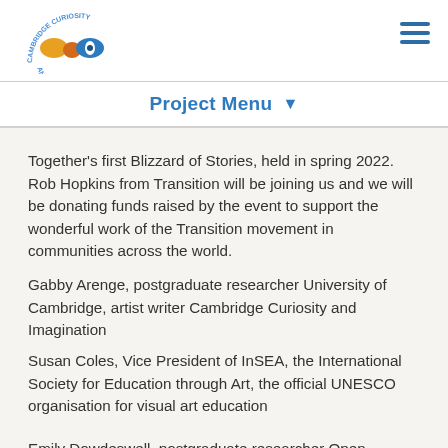Cambridge Curiosity and Imagination [logo] [hamburger menu]
Project Menu ▾
Together's first Blizzard of Stories, held in spring 2022. Rob Hopkins from Transition will be joining us and we will be donating funds raised by the event to support the wonderful work of the Transition movement in communities across the world.
Gabby Arenge, postgraduate researcher University of Cambridge, artist writer Cambridge Curiosity and Imagination
Susan Coles, Vice President of InSEA, the International Society for Education through Art, the official UNESCO organisation for visual art education
Emily Dowdeswell, postgraduate researcher Open University, artist writer Cambridge Curiosity and Imagination